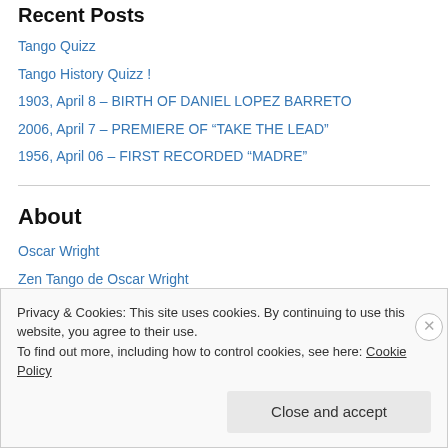Recent Posts
Tango Quizz
Tango History Quizz !
1903, April 8 – BIRTH OF DANIEL LOPEZ BARRETO
2006, April 7 – PREMIERE OF “TAKE THE LEAD”
1956, April 06 – FIRST RECORDED “MADRE”
About
Oscar Wright
Zen Tango de Oscar Wright
Privacy & Cookies: This site uses cookies. By continuing to use this website, you agree to their use.
To find out more, including how to control cookies, see here: Cookie Policy